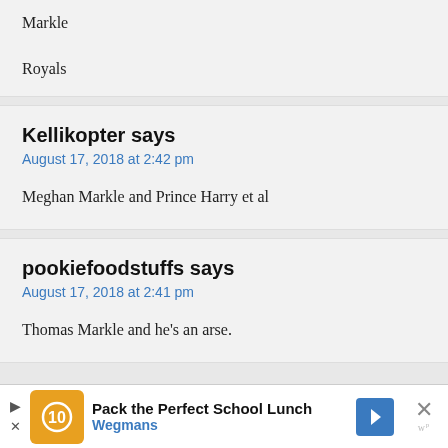Markle
Royals
Kellikopter says
August 17, 2018 at 2:42 pm
Meghan Markle and Prince Harry et al
pookiefoodstuffs says
August 17, 2018 at 2:41 pm
Thomas Markle and he's an arse.
[Figure (screenshot): Advertisement banner: Pack the Perfect School Lunch - Wegmans]